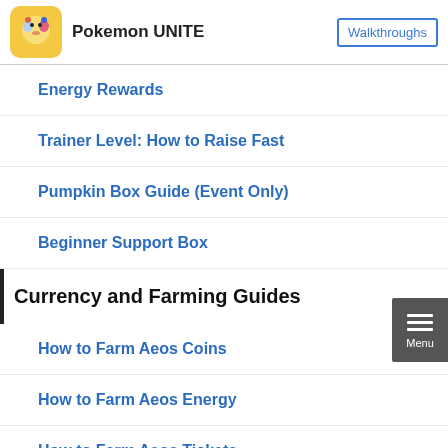Pokemon UNITE | Walkthroughs
Energy Rewards
Trainer Level: How to Raise Fast
Pumpkin Box Guide (Event Only)
Beginner Support Box
Currency and Farming Guides
How to Farm Aeos Coins
How to Farm Aeos Energy
How to Farm Aeos Tickets